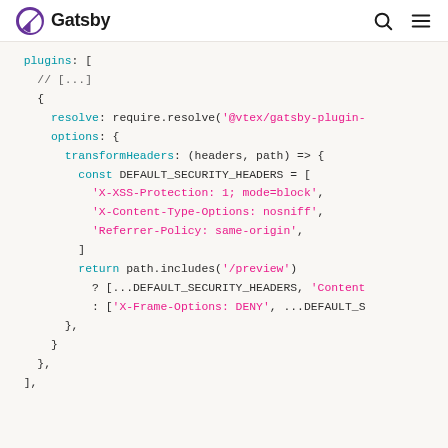Gatsby
[Figure (screenshot): Code snippet showing Gatsby plugin configuration with transformHeaders function setting security headers including X-XSS-Protection, X-Content-Type-Options, Referrer-Policy, and conditional X-Frame-Options]